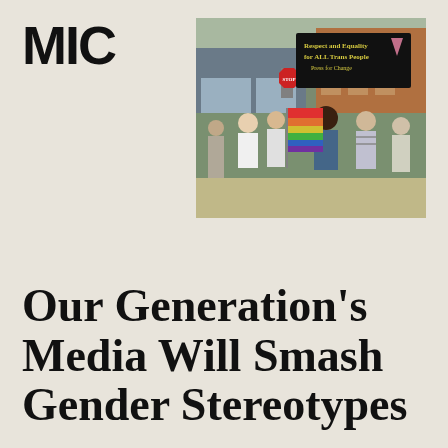MIC    MENU
[Figure (photo): Outdoor pride march scene with people holding a rainbow flag and a black banner reading 'Respect and Equality for ALL Trans People Press for Change', in an urban street setting]
Our Generation's Media Will Smash Gender Stereotypes